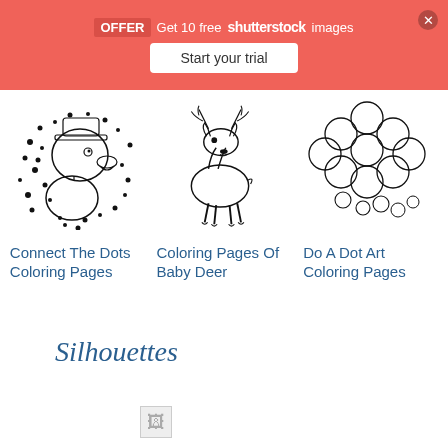[Figure (screenshot): Shutterstock promotional banner overlay with OFFER badge, 'Get 10 free shutterstock images' text, and 'Start your trial' button on coral/red background]
[Figure (illustration): Connect the dots coloring page illustration of a cartoon character (duck/dog with hat and dots pattern)]
Connect The Dots Coloring Pages
[Figure (illustration): Coloring page outline illustration of a baby deer (fawn/stag standing profile)]
Coloring Pages Of Baby Deer
[Figure (illustration): Do a dot art coloring page showing overlapping circles pattern arranged in a cloud/flower shape]
Do A Dot Art Coloring Pages
Silhouettes